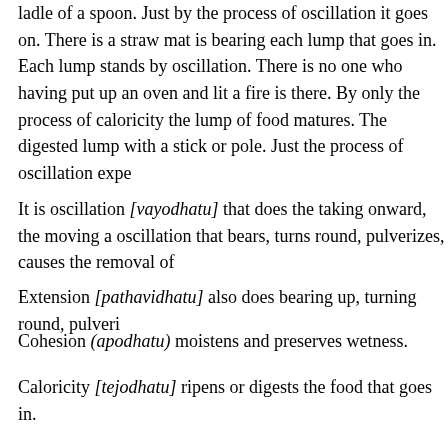ladle of a spoon. Just by the process of oscillation it goes on. There is a straw mat is bearing each lump that goes in. Each lump stands by oscillation. There is no one who having put up an oven and lit a fire is there. By only the process of caloricity the lump of food matures. The digested lump with a stick or pole. Just the process of oscillation expe
It is oscillation [vayodhatu] that does the taking onward, the moving a oscillation that bears, turns round, pulverizes, causes the removal of
Extension [pathavidhatu] also does bearing up, turning round, pulveri
Cohesion (apodhatu) moistens and preserves wetness.
Caloricity [tejodhatu] ripens or digests the food that goes in.
Space [akasadhatu] becomes the way for the entering of the food.
Consciousness [viññanadhatu] as a consequence of right kind of acti situation.
According to reflection of this sort, should the clear comprehension ot
Taking onward: moving on up to the mouth.
Moving on forward; taking of food from the mouth...